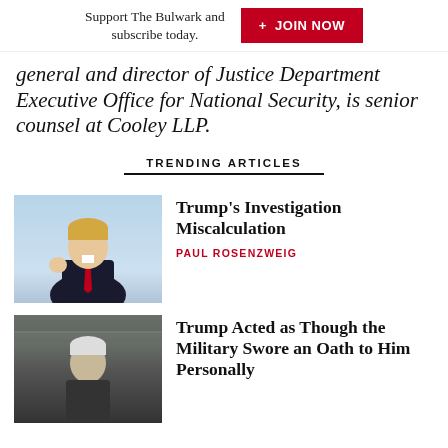Support The Bulwark and subscribe today. + JOIN NOW
general and director of Justice Department Executive Office for National Security, is senior counsel at Cooley LLP.
TRENDING ARTICLES
Trump's Investigation Miscalculation
PAUL ROSENZWEIG
Trump Acted as Though the Military Swore an Oath to Him Personally